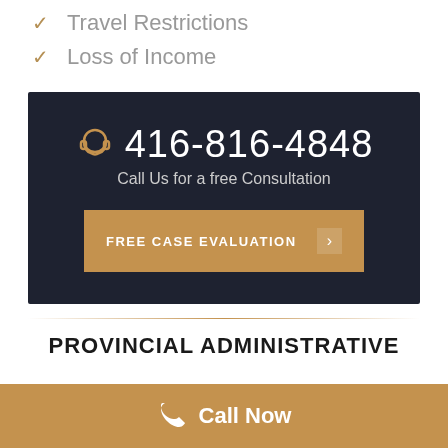Travel Restrictions
Loss of Income
[Figure (infographic): Dark banner with headset icon, phone number 416-816-4848, text 'Call Us for a free Consultation', and a golden 'FREE CASE EVALUATION' button with arrow]
PROVINCIAL ADMINISTRATIVE
Call Now